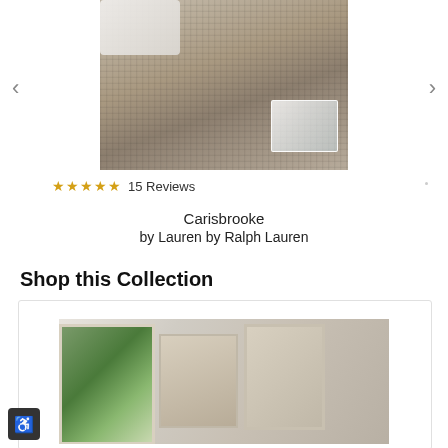[Figure (photo): Close-up photo of a woven textured rug in taupe/gray tones with white pillows and a crystal/glass decorative object on top]
★★★★★ 15 Reviews
Carisbrooke
by Lauren by Ralph Lauren
Shop this Collection
[Figure (photo): Product collection card showing framed artwork and rug samples displayed in a room setting]